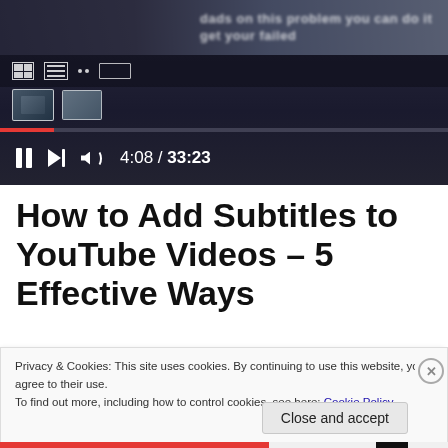[Figure (screenshot): YouTube video player screenshot showing video controls with timestamp 4:08 / 33:23, red progress bar, pause button, skip button, and volume icon on dark background]
How to Add Subtitles to YouTube Videos – 5 Effective Ways
Privacy & Cookies: This site uses cookies. By continuing to use this website, you agree to their use.
To find out more, including how to control cookies, see here: Cookie Policy
Close and accept